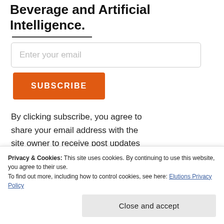Beverage and Artificial Intelligence.
Enter your email
SUBSCRIBE
By clicking subscribe, you agree to share your email address with the site owner to receive post updates
Privacy & Cookies: This site uses cookies. By continuing to use this website, you agree to their use.
To find out more, including how to control cookies, see here: Elutions Privacy Policy
Close and accept